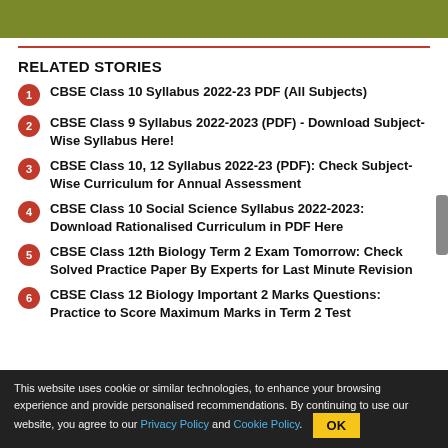[Figure (other): Olive/dark yellow-green banner image at the top of the page]
RELATED STORIES
CBSE Class 10 Syllabus 2022-23 PDF (All Subjects)
CBSE Class 9 Syllabus 2022-2023 (PDF) - Download Subject-Wise Syllabus Here!
CBSE Class 10, 12 Syllabus 2022-23 (PDF): Check Subject-Wise Curriculum for Annual Assessment
CBSE Class 10 Social Science Syllabus 2022-2023: Download Rationalised Curriculum in PDF Here
CBSE Class 12th Biology Term 2 Exam Tomorrow: Check Solved Practice Paper By Experts for Last Minute Revision
CBSE Class 12 Biology Important 2 Marks Questions: Practice to Score Maximum Marks in Term 2 Test
This website uses cookie or similar technologies, to enhance your browsing experience and provide personalised recommendations. By continuing to use our website, you agree to our Privacy Policy and Cookie Policy. OK